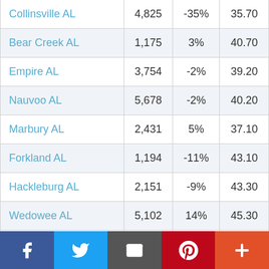| Collinsville AL | 4,825 | -35% | 35.70 |
| Bear Creek AL | 1,175 | 3% | 40.70 |
| Empire AL | 3,754 | -2% | 39.20 |
| Nauvoo AL | 5,678 | -2% | 40.20 |
| Marbury AL | 2,431 | 5% | 37.10 |
| Forkland AL | 1,194 | -11% | 43.10 |
| Hackleburg AL | 2,151 | -9% | 43.30 |
| Wedowee AL | 5,102 | 14% | 45.30 |
| Glenwood AL | 643 | -25% | 42.80 |
| Banks AL | 1,788 | 14% | 46.10 |
| Stone AL... |  | -0% | 34.50 |